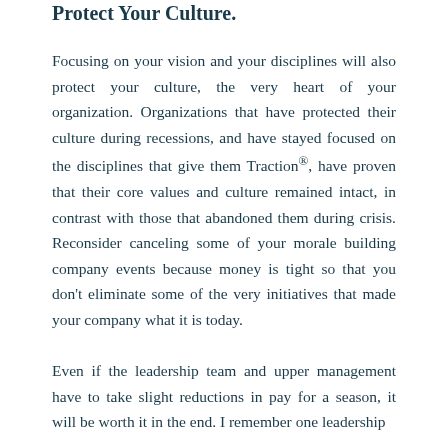Protect Your Culture.
Focusing on your vision and your disciplines will also protect your culture, the very heart of your organization. Organizations that have protected their culture during recessions, and have stayed focused on the disciplines that give them Traction®, have proven that their core values and culture remained intact, in contrast with those that abandoned them during crisis. Reconsider canceling some of your morale building company events because money is tight so that you don't eliminate some of the very initiatives that made your company what it is today.
Even if the leadership team and upper management have to take slight reductions in pay for a season, it will be worth it in the end. I remember one leadership